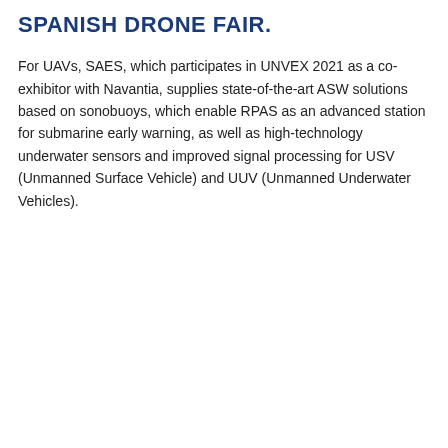SPANISH DRONE FAIR.
For UAVs, SAES, which participates in UNVEX 2021 as a co-exhibitor with Navantia, supplies state-of-the-art ASW solutions based on sonobuoys, which enable RPAS as an advanced station for submarine early warning, as well as high-technology underwater sensors and improved signal processing for USV (Unmanned Surface Vehicle) and UUV (Unmanned Underwater Vehicles).